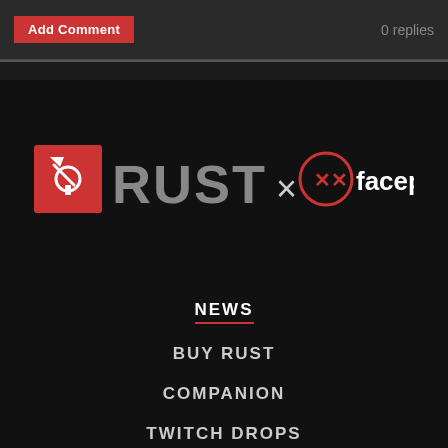Add Comment   0 replies
[Figure (logo): Rust game logo with red square icon and gray RUST text, × symbol, and Facepunch logo with red circle icon and white facepunch text]
NEWS
BUY RUST
COMPANION
TWITCH DROPS